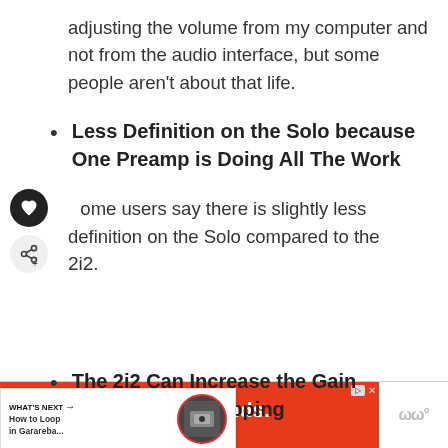adjusting the volume from my computer and not from the audio interface, but some people aren't about that life.
Less Definition on the Solo because One Preamp is Doing All The Work
Some users say there is slightly less definition on the Solo compared to the 2i2.
The 2i2 Can Increase the Gain More Without Clipping
[Figure (screenshot): Advertisement bar at bottom: Mattress Firm 'Our best brands. Lowest prices, guaranteed.' on red background with close/skip buttons]